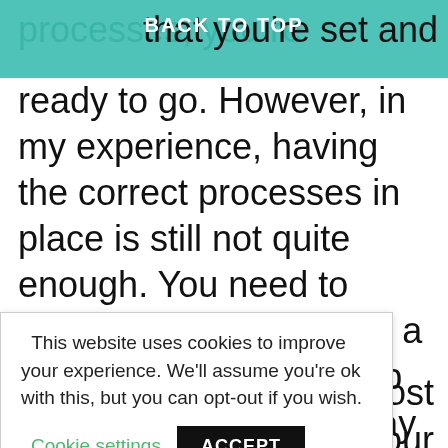processes, you re… BACK TO TOP …that you're set and
ready to go. However, in my experience, having the correct processes in place is still not quite enough. You need to establish procedures or a set of rules that will help you to navigate your way through each process.   This will set a standard for you and your team and ensure that your processes run seamlessly
This website uses cookies to improve your experience. We'll assume you're ok with this, but you can opt-out if you wish. Cookie settings  ACCEPT
the most our You need complying